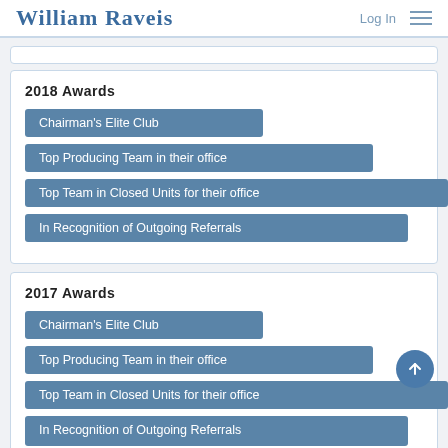William Raveis | Log In
2018 Awards
Chairman's Elite Club
Top Producing Team in their office
Top Team in Closed Units for their office
In Recognition of Outgoing Referrals
2017 Awards
Chairman's Elite Club
Top Producing Team in their office
Top Team in Closed Units for their office
In Recognition of Outgoing Referrals